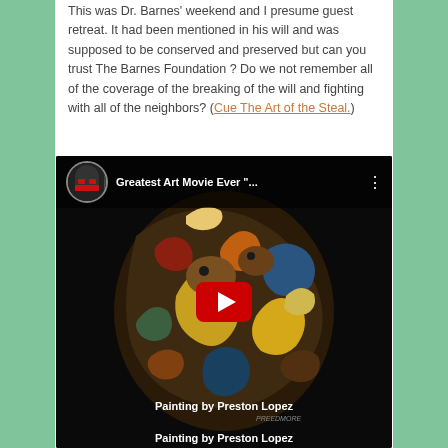This was Dr. Barnes' weekend and I presume guest retreat. It had been mentioned in his will and was supposed to be conserved and preserved but can you trust The Barnes Foundation ? Do we not remember all of the coverage of the breaking of the will and fighting with all of the neighbors? (Cue The Art of the Steal.)
[Figure (screenshot): YouTube video embed showing a dark painting with colorful abstract figures, titled 'Greatest Art Movie Ever "..."'. Has a YouTube play button in the center, a channel avatar on the top left, and text 'Painting by Preston Lopez' overlaid at the bottom.]